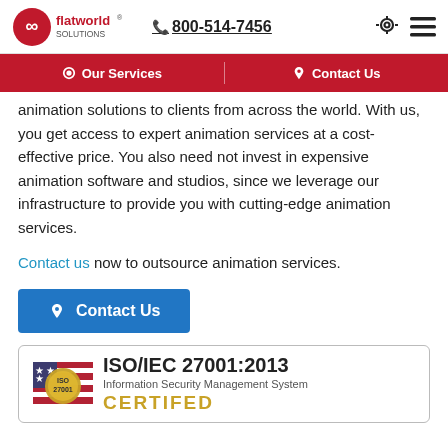flatworld solutions | 800-514-7456
Our Services | Contact Us
animation solutions to clients from across the world. With us, you get access to expert animation services at a cost-effective price. You also need not invest in expensive animation software and studios, since we leverage our infrastructure to provide you with cutting-edge animation services.
Contact us now to outsource animation services.
Contact Us
[Figure (logo): ISO/IEC 27001:2013 Information Security Management System CERTIFIED badge with US flag and ISO 27001 seal]